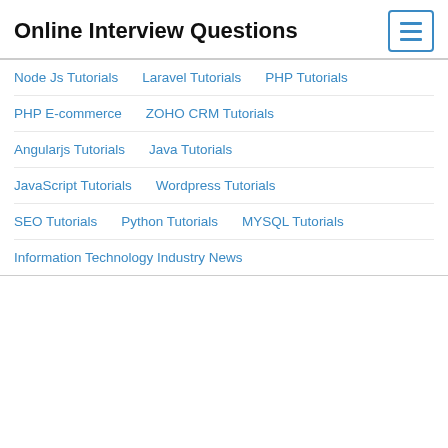Online Interview Questions
Node Js Tutorials   Laravel Tutorials   PHP Tutorials
PHP E-commerce   ZOHO CRM Tutorials
Angularjs Tutorials   Java Tutorials
JavaScript Tutorials   Wordpress Tutorials
SEO Tutorials   Python Tutorials   MYSQL Tutorials
Information Technology Industry News